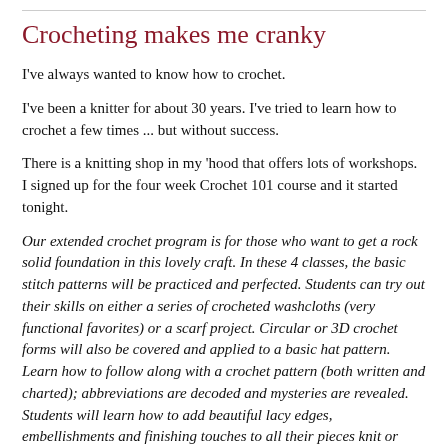Crocheting makes me cranky
I've always wanted to know how to crochet.
I've been a knitter for about 30 years. I've tried to learn how to crochet a few times ... but without success.
There is a knitting shop in my 'hood that offers lots of workshops. I signed up for the four week Crochet 101 course and it started tonight.
Our extended crochet program is for those who want to get a rock solid foundation in this lovely craft. In these 4 classes, the basic stitch patterns will be practiced and perfected. Students can try out their skills on either a series of crocheted washcloths (very functional favorites) or a scarf project. Circular or 3D crochet forms will also be covered and applied to a basic hat pattern. Learn how to follow along with a crochet pattern (both written and charted); abbreviations are decoded and mysteries are revealed. Students will learn how to add beautiful lacy edges, embellishments and finishing touches to all their pieces knit or